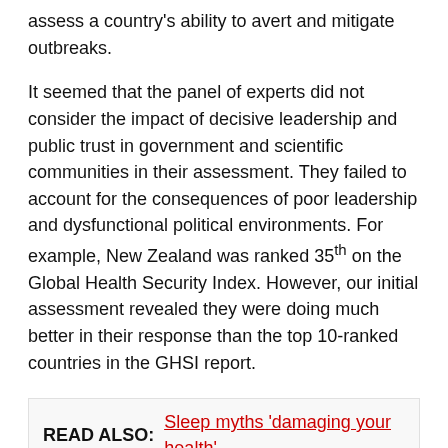assess a country's ability to avert and mitigate outbreaks.
It seemed that the panel of experts did not consider the impact of decisive leadership and public trust in government and scientific communities in their assessment. They failed to account for the consequences of poor leadership and dysfunctional political environments. For example, New Zealand was ranked 35th on the Global Health Security Index. However, our initial assessment revealed they were doing much better in their response than the top 10-ranked countries in the GHSI report.
READ ALSO:  Sleep myths 'damaging your health'
The general theme that runs through most of the